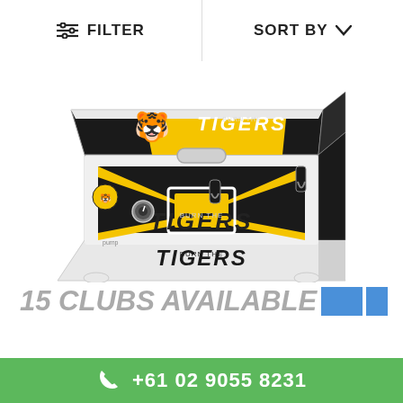FILTER   SORT BY
[Figure (photo): A white cooler box decorated with black and yellow Tigers AFL club branding, featuring the 'Burn The Tigers' text and tiger mascot graphic on the lid and sides.]
15 CLUBS AVAILABLE
+61 02 9055 8231